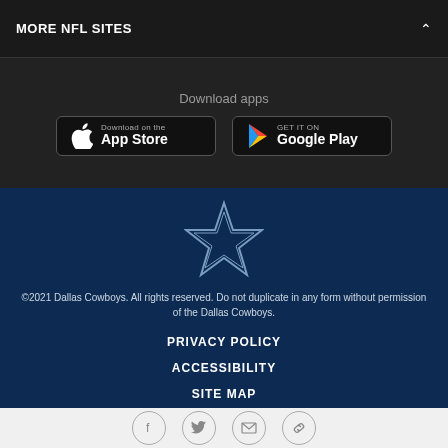MORE NFL SITES
Download apps
[Figure (logo): Apple App Store download button]
[Figure (logo): Google Play download button]
[Figure (logo): Dallas Cowboys star logo]
©2021 Dallas Cowboys. All rights reserved. Do not duplicate in any form without permission of the Dallas Cowboys.
PRIVACY POLICY
ACCESSIBILITY
SITE MAP
[Figure (infographic): Social media icons: Facebook, Twitter, Email, Link]